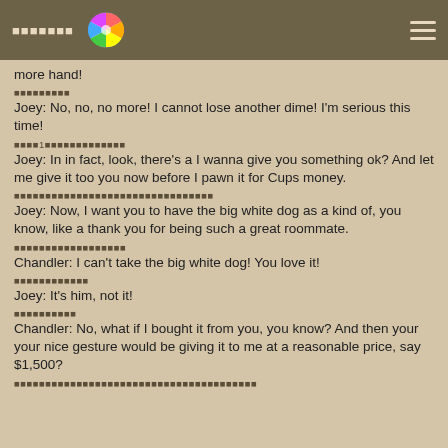▪▪▪▪▪▪▪ [colorful wheel icon] ≡
more hand!
▪▪▪▪▪▪▪▪▪
Joey: No, no, no more! I cannot lose another dime! I'm serious this time!
▪▪▪▪1▪▪▪▪▪▪▪▪▪▪▪▪
Joey: In in fact, look, there's a I wanna give you something ok? And let me give it too you now before I pawn it for Cups money.
▪▪▪▪▪▪▪▪▪▪▪▪▪▪▪▪▪▪▪▪▪▪▪▪▪▪▪▪▪▪▪▪
Joey: Now, I want you to have the big white dog as a kind of, you know, like a thank you for being such a great roommate.
▪▪▪▪▪▪▪▪▪▪▪▪▪▪▪▪▪▪
Chandler: I can't take the big white dog! You love it!
▪▪▪▪▪▪▪▪▪▪▪▪
Joey: It's him, not it!
▪▪▪▪▪▪▪▪▪▪
Chandler: No, what if I bought it from you, you know? And then your your nice gesture would be giving it to me at a reasonable price, say $1,500?
▪▪▪▪▪▪▪▪▪▪▪▪▪▪▪▪▪▪▪▪▪▪▪▪▪▪▪▪▪▪▪▪▪▪▪▪▪▪▪